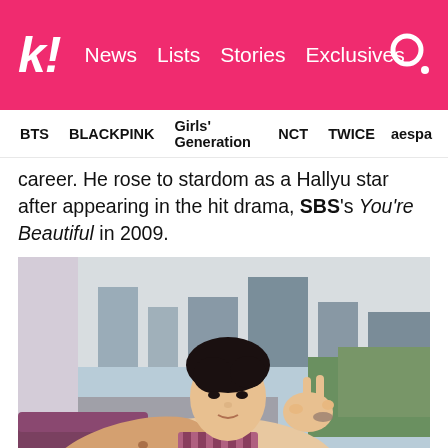k! News Lists Stories Exclusives
BTS  BLACKPINK  Girls' Generation  NCT  TWICE  aespa
career. He rose to stardom as a Hallyu star after appearing in the hit drama, SBS's You're Beautiful in 2009.
[Figure (photo): Young Asian male celebrity taking a selfie indoors, making a peace/V sign with his hand, wearing a floral patterned top with a striped vest, city and trees visible through window in background.]